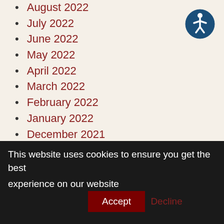August 2022
July 2022
June 2022
May 2022
April 2022
March 2022
February 2022
January 2022
December 2021
November 2021
October 2021
September 2021
August 2021
July 2021
June 2021
[Figure (illustration): Accessibility icon: white stick figure person in a circle with dark blue background]
This website uses cookies to ensure you get the best experience on our website
Accept
Decline